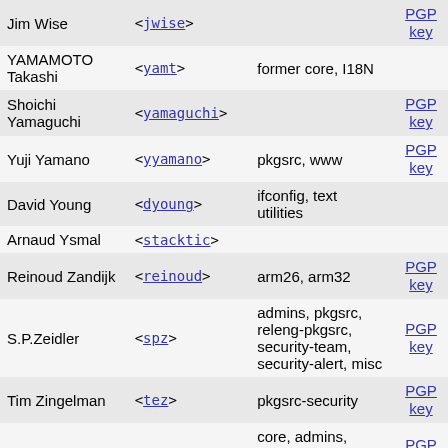| Name | Username | Description | PGP |
| --- | --- | --- | --- |
| Jim Wise | <jwise> |  | PGP key |
| YAMAMOTO Takashi | <yamt> | former core, I18N |  |
| Shoichi Yamaguchi | <yamaguchi> |  | PGP key |
| Yuji Yamano | <yyamano> | pkgsrc, www | PGP key |
| David Young | <dyoung> | ifconfig, text utilities |  |
| Arnaud Ysmal | <stacktic> |  |  |
| Reinoud Zandijk | <reinoud> | arm26, arm32 | PGP key |
| S.P.Zeidler | <spz> | admins, pkgsrc, releng-pkgsrc, security-team, security-alert, misc | PGP key |
| Tim Zingelman | <tez> | pkgsrc-security | PGP key |
| Christos Zoulas | <christos> | core, admins, membership-exec, security-officer | PGP key |
Contact | Disclaimer | Copyright 1994-2022 The NetBSD Foundation, Inc. ALL RIGHTS RESERVED. NetBSD/sup> is a registered trademark of The NetBSD Foundation, Inc.